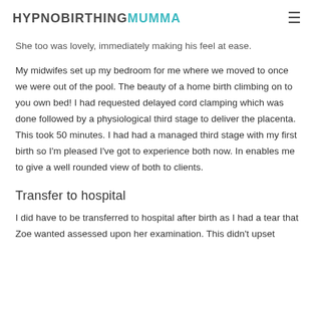HYPNOBIRTHINGMUMMA
She too was lovely, immediately making his feel at ease.
My midwifes set up my bedroom for me where we moved to once we were out of the pool. The beauty of a home birth climbing on to you own bed! I had requested delayed cord clamping which was done followed by a physiological third stage to deliver the placenta. This took 50 minutes. I had had a managed third stage with my first birth so I'm pleased I've got to experience both now. In enables me to give a well rounded view of both to clients.
Transfer to hospital
I did have to be transferred to hospital after birth as I had a tear that Zoe wanted assessed upon her examination. This didn't upset